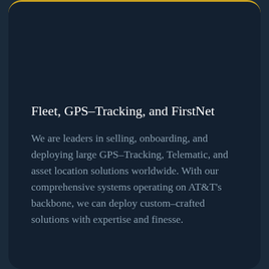Fleet, GPS–Tracking, and FirstNet
We are leaders in selling, onboarding, and deploying large GPS–Tracking, Telematic, and asset location solutions worldwide. With our comprehensive systems operating on AT&T's backbone, we can deploy custom–crafted solutions with expertise and finesse.